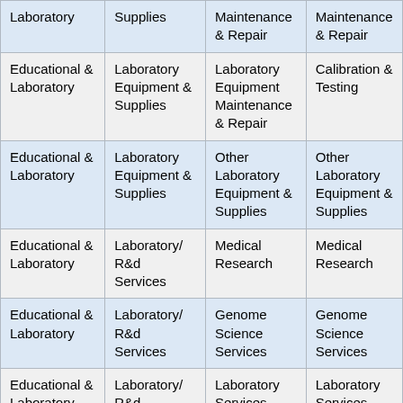| Laboratory | Supplies | Maintenance & Repair | Maintenance & Repair |
| Educational & Laboratory | Laboratory Equipment & Supplies | Laboratory Equipment Maintenance & Repair | Calibration & Testing |
| Educational & Laboratory | Laboratory Equipment & Supplies | Other Laboratory Equipment & Supplies | Other Laboratory Equipment & Supplies |
| Educational & Laboratory | Laboratory/ R&d Services | Medical Research | Medical Research |
| Educational & Laboratory | Laboratory/ R&d Services | Genome Science Services | Genome Science Services |
| Educational & Laboratory | Laboratory/ R&d Services | Laboratory Services | Laboratory Services |
| Educational & Laboratory | Laboratory/ R&d Services | Other Laboratory/ R&d Services | Other Laboratory/ R&d Services |